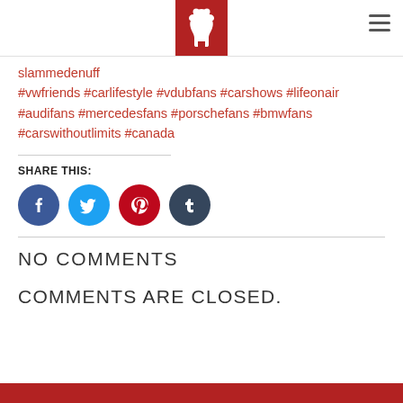Berlin bear logo and hamburger menu
slammedenuff #vwfriends #carlifestyle #vdubfans #carshows #lifeonair #audifans #mercedesfans #porschefans #bmwfans #carswithoutlimits #canada
SHARE THIS:
[Figure (infographic): Social share buttons: Facebook (blue circle), Twitter (light blue circle), Pinterest (red circle), Tumblr (dark blue circle)]
NO COMMENTS
COMMENTS ARE CLOSED.